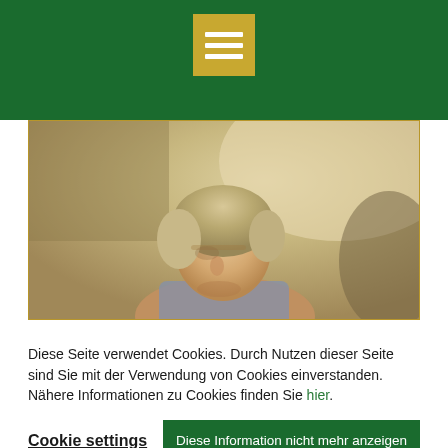[Figure (photo): Dark green header bar with a gold/tan colored hamburger menu icon (three horizontal white bars) centered at the top]
[Figure (photo): A middle-aged man with blonde/grey hair looking down, photographed outdoors with a blurred sandy background]
Diese Seite verwendet Cookies. Durch Nutzen dieser Seite sind Sie mit der Verwendung von Cookies einverstanden. Nähere Informationen zu Cookies finden Sie hier.
Cookie settings
Diese Information nicht mehr anzeigen